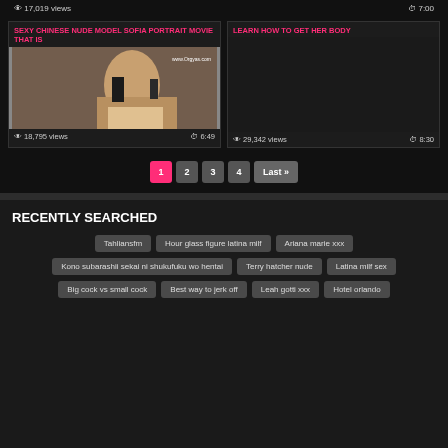17,019 views   7:00
SEXY CHINESE NUDE MODEL SOFIA PORTRAIT MOVIE THAT IS
[Figure (photo): Video thumbnail showing a woman in lingerie]
18,795 views   6:49
LEARN HOW TO GET HER BODY
29,342 views   8:30
1 2 3 4 Last »
RECENTLY SEARCHED
Tahliansfm
Hour glass figure latina milf
Ariana marie xxx
Kono subarashii sekai ni shukufuku wo hentai
Terry hatcher nude
Latina milf sex
Big cock vs small cock
Best way to jerk off
Leah gotti xxx
Hotel orlando